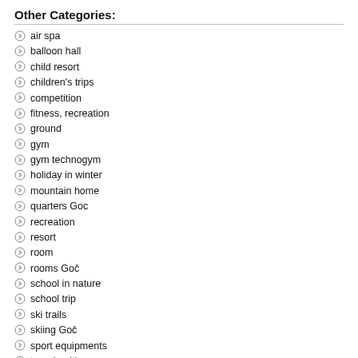Other Categories:
air spa
balloon hall
child resort
children's trips
competition
fitness, recreation
ground
gym
gym technogym
holiday in winter
mountain home
quarters Goc
recreation
resort
room
rooms Goč
school in nature
school trip
ski trails
skiing Goč
sport equipments
term health
wintering Goc
youth tourism
On the prettiest and most green part of the mountain Goč, on the place Dobra Voda, there is a childrens resort "Goč" (altitude 920 meters), 28 km far from Kraljevo.